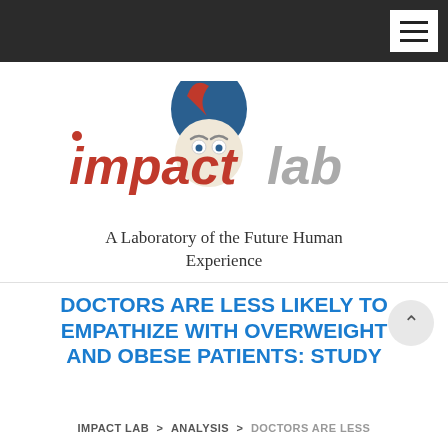Navigation bar with hamburger menu
[Figure (logo): Impact Lab logo: cartoon face character with blue hair, red and grey text reading 'impact lab']
A Laboratory of the Future Human Experience
DOCTORS ARE LESS LIKELY TO EMPATHIZE WITH OVERWEIGHT AND OBESE PATIENTS: STUDY
IMPACT LAB > ANALYSIS > DOCTORS ARE LESS